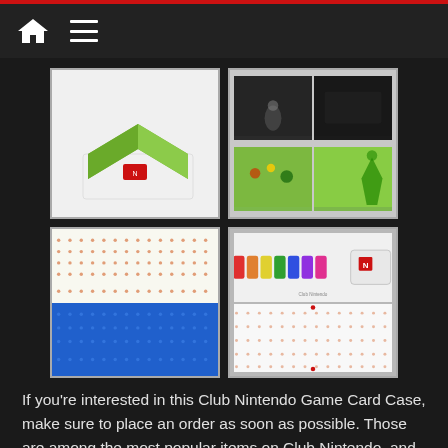Navigation bar with home icon and menu icon
[Figure (photo): Four product images of Club Nintendo Game Card Case showing green folded case exterior, interior book pages with Zelda artwork, dot-pattern panels, and card holder display]
If you’re interested in this Club Nintendo Game Card Case, make sure to place an order as soon as possible. Those are among the most popular items on Club Nintendo, and they generally tend to sell